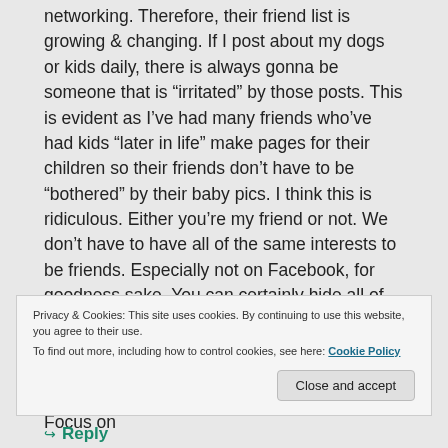networking. Therefore, their friend list is growing & changing. If I post about my dogs or kids daily, there is always gonna be someone that is “irritated” by those posts. This is evident as I’ve had many friends who’ve had kids “later in life” make pages for their children so their friends don’t have to be “bothered” by their baby pics. I think this is ridiculous. Either you’re my friend or not. We don’t have to have all of the same interests to be friends. Especially not on Facebook, for goodness sake. You can certainly hide all of the friends that post things that annoy you (hello, it’s election year. need i say more). That’s your choice. Get to work on that. Or stop worrying about what other people post. Focus on
Privacy & Cookies: This site uses cookies. By continuing to use this website, you agree to their use.
To find out more, including how to control cookies, see here: Cookie Policy
Close and accept
Reply